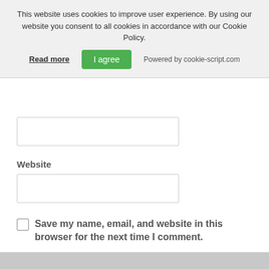This website uses cookies to improve user experience. By using our website you consent to all cookies in accordance with our Cookie Policy.
Read more
I agree
Powered by cookie-script.com
Website
Save my name, email, and website in this browser for the next time I comment.
POST COMMENT